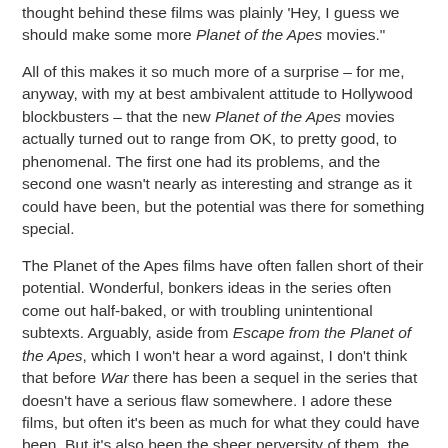thought behind these films was plainly 'Hey, I guess we should make some more Planet of the Apes movies."
All of this makes it so much more of a surprise – for me, anyway, with my at best ambivalent attitude to Hollywood blockbusters – that the new Planet of the Apes movies actually turned out to range from OK, to pretty good, to phenomenal. The first one had its problems, and the second one wasn't nearly as interesting and strange as it could have been, but the potential was there for something special.
The Planet of the Apes films have often fallen short of their potential. Wonderful, bonkers ideas in the series often come out half-baked, or with troubling unintentional subtexts. Arguably, aside from Escape from the Planet of the Apes, which I won't hear a word against, I don't think that before War there has been a sequel in the series that doesn't have a serious flaw somewhere. I adore these films, but often it's been as much for what they could have been. But it's also been the sheer perversity of them, the way in which they get you to root for the collapse of human civilisation, and do it without misanthropy, that keeps bringing me back. Ironically, these are very human movies.